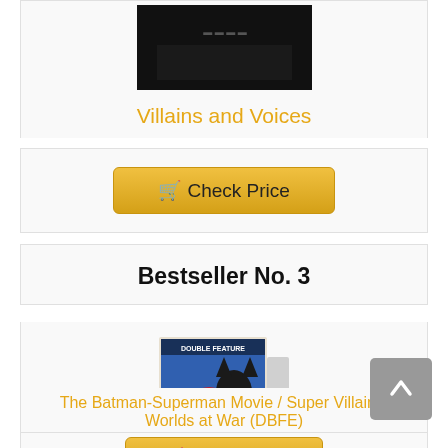[Figure (photo): Dark DVD/product cover image partially visible at top of page]
Villains and Voices
Check Price
Bestseller No. 3
[Figure (photo): DVD double feature cover showing Batman-Superman Movie and Super Villains: Worlds at War]
The Batman-Superman Movie / Super Villains: Worlds at War (DBFE)
Check Price